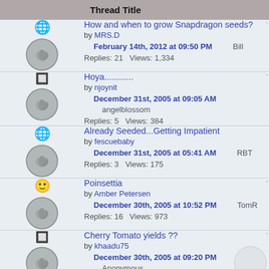|  | Thread Title |
| --- | --- |
| [icon] | How and when to grow Snapdragon seeds?
by MRS.D
February 14th, 2012 at 09:50 PM  Bill
Replies: 21  Views: 1,334 |
| [icon] | Hoya............
by njoynit
December 31st, 2005 at 09:05 AM  angelblossom
Replies: 5  Views: 384 |
| [icon] | Already Seeded...Getting Impatient
by fescuebaby
December 31st, 2005 at 05:41 AM  RBT
Replies: 3  Views: 175 |
| [icon] | Poinsettia
by Amber Petersen
December 30th, 2005 at 10:52 PM  TomR
Replies: 16  Views: 973 |
| [icon] | Cherry Tomato yields ??
by khaadu75
December 30th, 2005 at 09:20 PM  Anonymous |